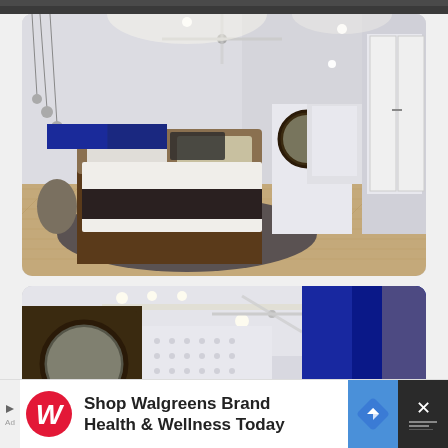[Figure (photo): Cropped top strip of a dark image, partially visible at the very top of the page]
[Figure (photo): Modern master bedroom interior with white walls, herringbone hardwood floors, dark brown platform bed with white bedding and black-patterned throw, round mirror on wall, ceiling fan, pendant lights, and en-suite bathroom visible in background]
[Figure (photo): Second view of modern bedroom showing ceiling fan, round mirror, textured white wall panel, and blue windows with curtains]
Shop Walgreens Brand Health & Wellness Today